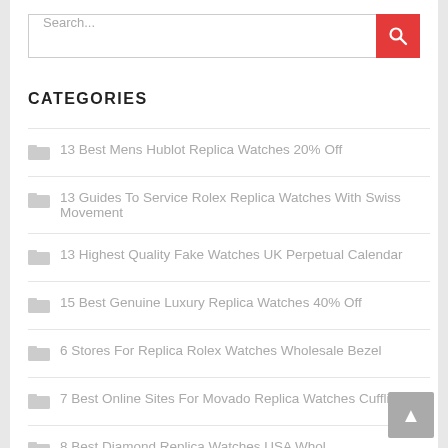[Figure (screenshot): Search input bar with placeholder text 'Search...' and a red search button with magnifying glass icon]
CATEGORIES
13 Best Mens Hublot Replica Watches 20% Off
13 Guides To Service Rolex Replica Watches With Swiss Movement
13 Highest Quality Fake Watches UK Perpetual Calendar
15 Best Genuine Luxury Replica Watches 40% Off
6 Stores For Replica Rolex Watches Wholesale Bezel
7 Best Online Sites For Movado Replica Watches Cufflinks
8 Best Diamond Replica Watches USA Whol…